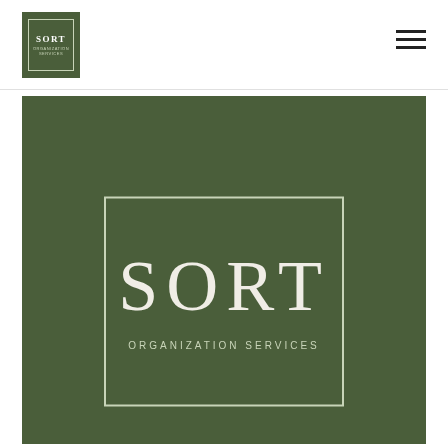[Figure (logo): SORT Organization Services small logo in dark green square with inner border, white text]
[Figure (logo): Hamburger menu icon (three horizontal lines) in top right corner]
[Figure (logo): Large dark green hero section with centered SORT Organization Services logo in a white-bordered rectangle. Large serif white SORT text above smaller spaced ORGANIZATION SERVICES text.]